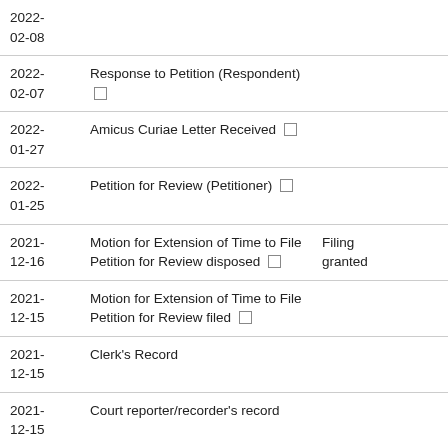| Date | Event | Status |
| --- | --- | --- |
| 2022-02-08 |  |  |
| 2022-02-07 | Response to Petition (Respondent) □ |  |
| 2022-01-27 | Amicus Curiae Letter Received □ |  |
| 2022-01-25 | Petition for Review (Petitioner) □ |  |
| 2021-12-16 | Motion for Extension of Time to File Petition for Review disposed □ | Filing granted |
| 2021-12-15 | Motion for Extension of Time to File Petition for Review filed □ |  |
| 2021-12-15 | Clerk's Record |  |
| 2021-12-15 | Court reporter/recorder's record |  |